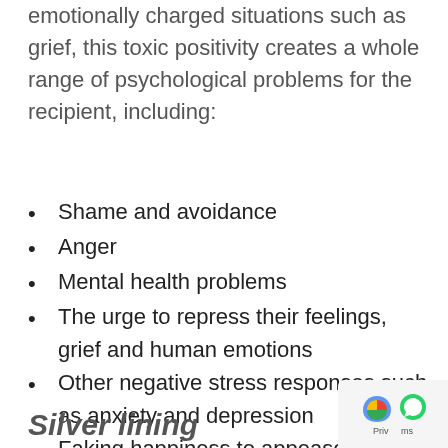emotionally charged situations such as grief, this toxic positivity creates a whole range of psychological problems for the recipient, including:
Shame and avoidance
Anger
Mental health problems
The urge to repress their feelings, grief and human emotions
Other negative stress responses such as anxiety and depression
Faking happiness to appease others
Silver lining